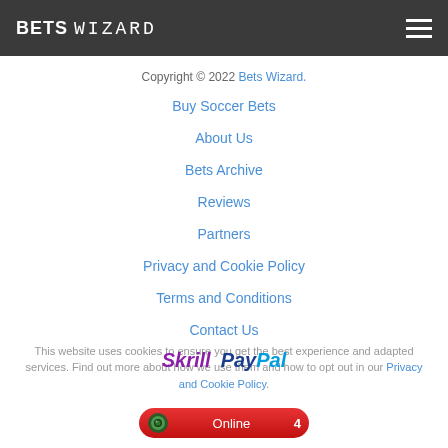BETS WIZARD
Copyright © 2022 Bets Wizard.
Buy Soccer Bets
About Us
Bets Archive
Reviews
Partners
Privacy and Cookie Policy
Terms and Conditions
Contact Us
[Figure (logo): Skrill and PayPal payment logos]
This website uses cookies to ensure you get the best experience and adapted services. Find out more about how we use them and how to opt out in our Privacy and Cookie Policy.
Online 4